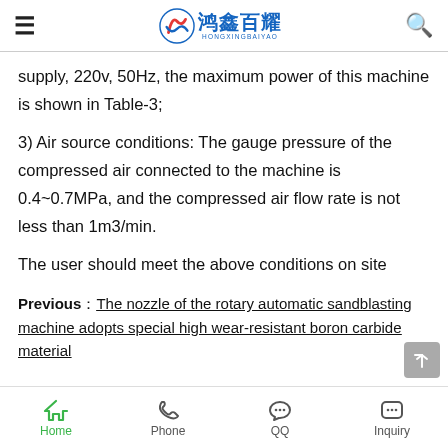鸿鑫百耀 HONGXINGBAIYAO
supply, 220v, 50Hz, the maximum power of this machine is shown in Table-3;
3) Air source conditions: The gauge pressure of the compressed air connected to the machine is 0.4~0.7MPa, and the compressed air flow rate is not less than 1m3/min.
The user should meet the above conditions on site
Previous：The nozzle of the rotary automatic sandblasting machine adopts special high wear-resistant boron carbide material
Home  Phone  QQ  Inquiry